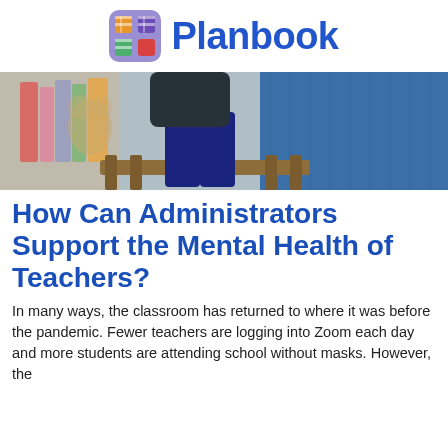Planbook
[Figure (photo): A person sitting on a wooden bench in a classroom, wearing dark jeans and a dark top, with blurred colorful items in the background and blue carpet visible.]
How Can Administrators Support the Mental Health of Teachers?
In many ways, the classroom has returned to where it was before the pandemic. Fewer teachers are logging into Zoom each day and more students are attending school without masks. However, the